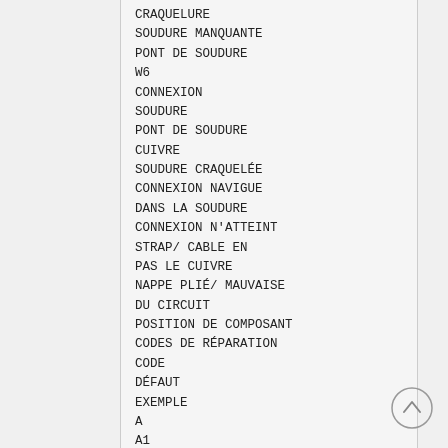CRAQUELURE
SOUDURE MANQUANTE
PONT DE SOUDURE
W6
CONNEXION
SOUDURE
PONT DE SOUDURE
CUIVRE
SOUDURE CRAQUELÉE
CONNEXION NAVIGUE
DANS LA SOUDURE
CONNEXION N'ATTEINT
STRAP/ CABLE EN
PAS LE CUIVRE
NAPPE PLIÉ/ MAUVAISE
DU CIRCUIT
POSITION DE COMPOSANT
CODES DE RÉPARATION
CODE
DÉFAUT
EXEMPLE
A
A1
B